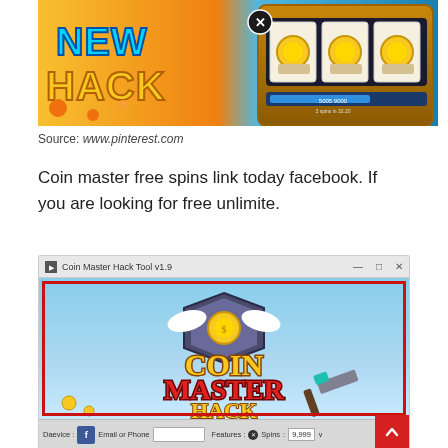[Figure (screenshot): Screenshot of a Coin Master 'New Hack' promotional image showing a slot machine with coins and a close button]
Source: www.pinterest.com
Coin master free spins link today facebook. If you are looking for free unlimite.
[Figure (screenshot): Screenshot of 'Coin Master Hack Tool v1.9' application window showing Coin Master Hack title screen with device options (Facebook), Email or Phone field, Features including Spins: 9,999, and a red scroll-to-top button]